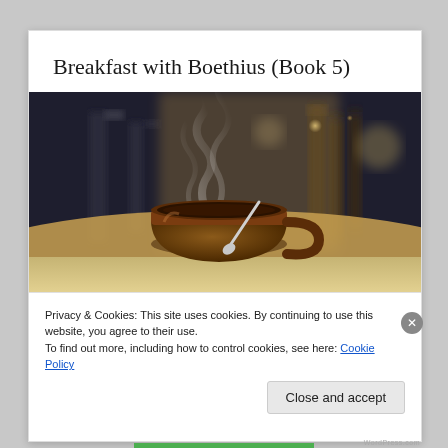Breakfast with Boethius (Book 5)
[Figure (photo): A steaming hot coffee cup with a spoon, photographed in a warm, slightly blurred café or kitchen setting with bokeh lighting in the background.]
Privacy & Cookies: This site uses cookies. By continuing to use this website, you agree to their use.
To find out more, including how to control cookies, see here: Cookie Policy
Close and accept